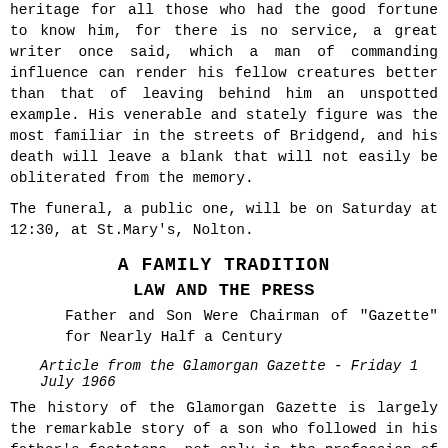heritage for all those who had the good fortune to know him, for there is no service, a great writer once said, which a man of commanding influence can render his fellow creatures better than that of leaving behind him an unspotted example. His venerable and stately figure was the most familiar in the streets of Bridgend, and his death will leave a blank that will not easily be obliterated from the memory.
The funeral, a public one, will be on Saturday at 12:30, at St.Mary's, Nolton.
A FAMILY TRADITION
LAW AND THE PRESS
Father and Son Were Chairman of "Gazette" for Nearly Half a Century
Article from the Glamorgan Gazette - Friday 1 July 1966
The history of the Glamorgan Gazette is largely the remarkable story of a son who followed in his father's footsteps, not only in the profession of the law but also in the world of newspapers.
For nearly a half-century of the "Glamorgan Gazette's" 100